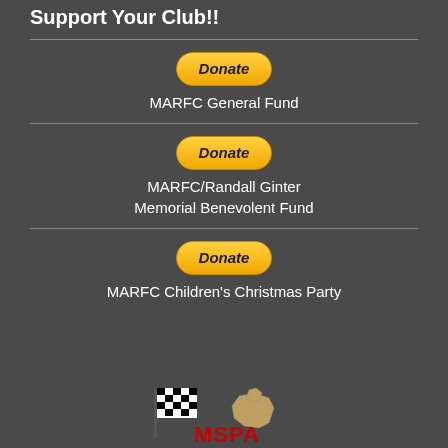Support Your Club!!
MARFC General Fund
MARFC/Randall Ginter Memorial Benevolent Fund
MARFC Children's Christmas Party
[Figure (logo): MSPA logo with checkered flag and Michigan outline]